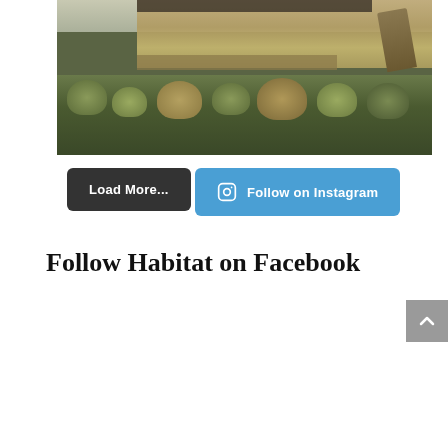[Figure (photo): Aerial/elevated view of a modern house with a wooden deck, surrounded by ornamental grasses and coastal vegetation, with rolling landscape in the foreground]
Load More...
Follow on Instagram
Follow Habitat on Facebook